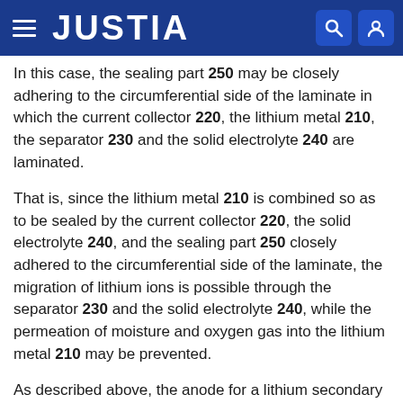JUSTIA
In this case, the sealing part 250 may be closely adhering to the circumferential side of the laminate in which the current collector 220, the lithium metal 210, the separator 230 and the solid electrolyte 240 are laminated.
That is, since the lithium metal 210 is combined so as to be sealed by the current collector 220, the solid electrolyte 240, and the sealing part 250 closely adhered to the circumferential side of the laminate, the migration of lithium ions is possible through the separator 230 and the solid electrolyte 240, while the permeation of moisture and oxygen gas into the lithium metal 210 may be prevented.
As described above, the anode for a lithium secondary battery of the present invention may prevent the permeation of moisture into the lithium metal forming